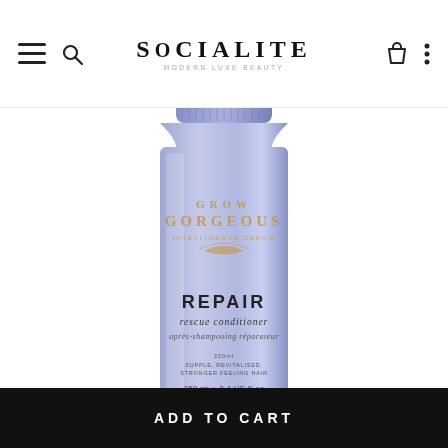SOCIALITE MODERN LUXE BEAUTY
[Figure (photo): A lavender/periwinkle blue tube of Grow Gorgeous REPAIR Rescue Conditioner (après-shampooing réparateur), 250ml / 8.4 US fl oz. The tube shows the Grow Gorgeous brand name and logo in gold/copper text, with product claims: Supple, Revitalised, Stronger Feeling Hair.]
ADD TO CART